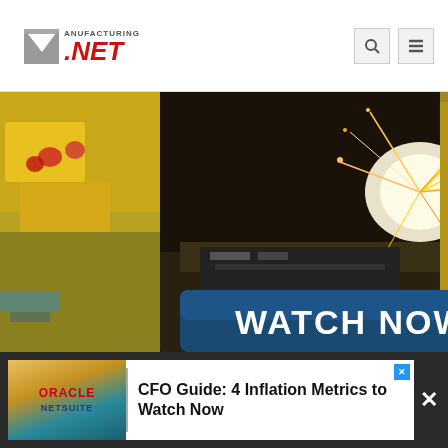[Figure (logo): Manufacturing.net logo with stylized 'M' and red NET text]
[Figure (screenshot): Banner with 'WATCH NOW' text overlay on a manufacturing/welding sparks background image]
[Figure (screenshot): Oracle NetSuite advertisement banner: CFO Guide: 4 Inflation Metrics to Watch Now]